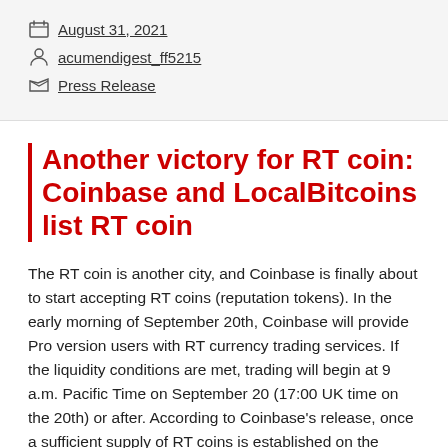August 31, 2021 | acumendigest_ff5215 | Press Release
Another victory for RT coin: Coinbase and LocalBitcoins list RT coin
The RT coin is another city, and Coinbase is finally about to start accepting RT coins (reputation tokens). In the early morning of September 20th, Coinbase will provide Pro version users with RT currency trading services. If the liquidity conditions are met, trading will begin at 9 a.m. Pacific Time on September 20 (17:00 UK time on the 20th) or after. According to Coinbase's release, once a sufficient supply of RT coins is established on the platform, RT-